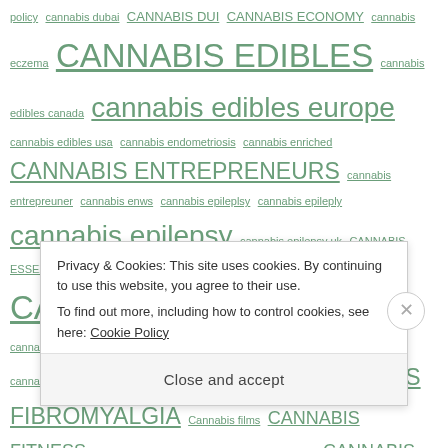policy cannabis dubai CANNABIS DUI CANNABIS ECONOMY cannabis eczema CANNABIS EDIBLES cannabis edibles canada cannabis edibles europe cannabis edibles usa cannabis endometriosis cannabis enriched CANNABIS ENTREPRENEURS cannabis entrepreuner cannabis enws cannabis epileplsy cannabis epileply cannabis epilepsy cannabis epilepsy uk CANNABIS ESSEX DOG Cannabis estonia CANNABIS EU cannabis europa CANNABIS EUROPE cannabis ews cannabis exit drug cannabis export cannabis facebook cannabis farming cannabis festival CANNABIS FESTIVALS CANADA CANNABIS FIBROMYALGIA Cannabis films CANNABIS FITNESS CANNABIS FITTNESS cannabis flowers CANNABIS
Privacy & Cookies: This site uses cookies. By continuing to use this website, you agree to their use.
To find out more, including how to control cookies, see here: Cookie Policy
Close and accept